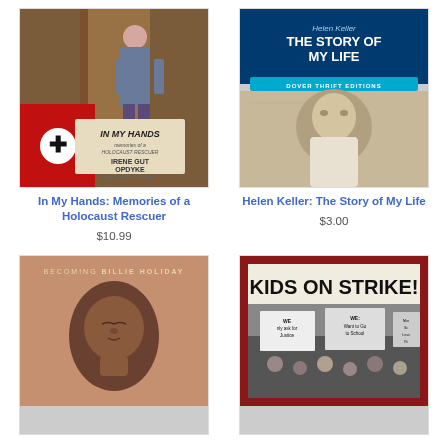[Figure (photo): Book cover: In My Hands: Memories of a Holocaust Rescuer by Irene Gut Opdyke with Jennifer Armstrong. Cover shows a woman in a floral dress at a doorway with Nazi imagery in the background.]
In My Hands: Memories of a Holocaust Rescuer
$10.99
[Figure (photo): Book cover: Helen Keller: The Story of My Life. Dover Thrift Editions. Blue top with title text and a black-and-white portrait photo of Helen Keller in profile.]
Helen Keller: The Story of My Life
$3.00
[Figure (photo): Book cover: Becoming Billie Holiday. Cover shows an illustration of a young African-American girl with eyes closed on a warm brown background.]
[Figure (photo): Book cover: Kids on Strike! Cover shows a dark red border with a black-and-white photograph of children holding protest signs reading 'We only ask for Justice' and 'We Want to Go to School'.]